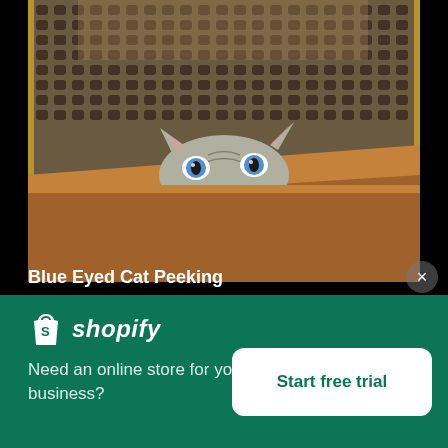[Figure (photo): A blue-eyed tabby cat peeking over the edge of a wooden chair with rattan/wicker back, with a patterned rug visible in the background. Taken from below, showing just the cat's eyes and ears.]
Blue Eyed Cat Peeking
[Figure (logo): Shopify logo: white shopping bag icon with 'S' followed by italic white text 'shopify']
Need an online store for your business?
Start free trial